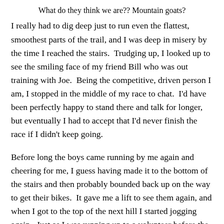What do they think we are?? Mountain goats?
I really had to dig deep just to run even the flattest, smoothest parts of the trail, and I was deep in misery by the time I reached the stairs.  Trudging up, I looked up to see the smiling face of my friend Bill who was out training with Joe.  Being the competitive, driven person I am, I stopped in the middle of my race to chat.  I'd have been perfectly happy to stand there and talk for longer, but eventually I had to accept that I'd never finish the race if I didn't keep going.
Before long the boys came running by me again and cheering for me, I guess having made it to the bottom of the stairs and then probably bounded back up on the way to get their bikes.  It gave me a lift to see them again, and when I got to the top of the next hill I started jogging again.  Just as I was running up to a volunteer before the fun downhill, my calf muscles started to flicker.  I stopped before it full-on cramped to stretch it